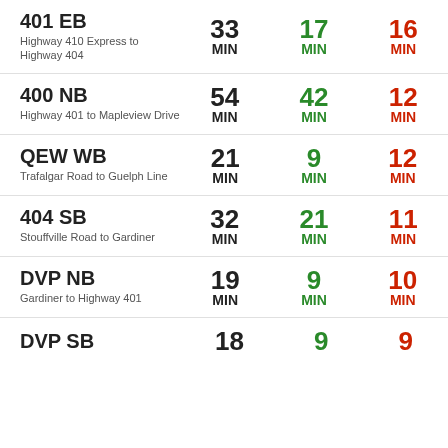401 EB
Highway 410 Express to Highway 404
33 MIN | 17 MIN | 16 MIN
400 NB
Highway 401 to Mapleview Drive
54 MIN | 42 MIN | 12 MIN
QEW WB
Trafalgar Road to Guelph Line
21 MIN | 9 MIN | 12 MIN
404 SB
Stouffville Road to Gardiner
32 MIN | 21 MIN | 11 MIN
DVP NB
Gardiner to Highway 401
19 MIN | 9 MIN | 10 MIN
DVP SB
18 | 9 | 9